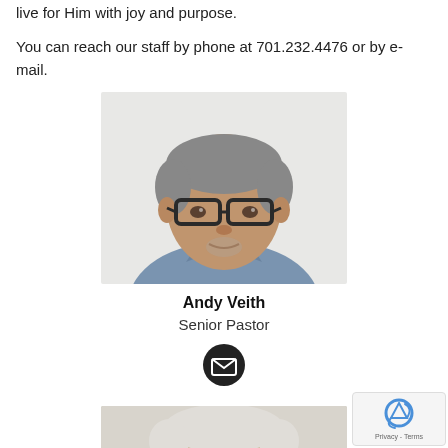live for Him with joy and purpose.
You can reach our staff by phone at 701.232.4476 or by e-mail.
[Figure (photo): Portrait photo of Andy Veith, a middle-aged man with salt-and-pepper hair wearing dark-rimmed glasses and a blue collared shirt, against a light background.]
Andy Veith
Senior Pastor
[Figure (other): Black circular email/envelope icon button]
[Figure (photo): Partial portrait photo of a second person, showing the top of a head with white/grey hair, cropped at the bottom of the page.]